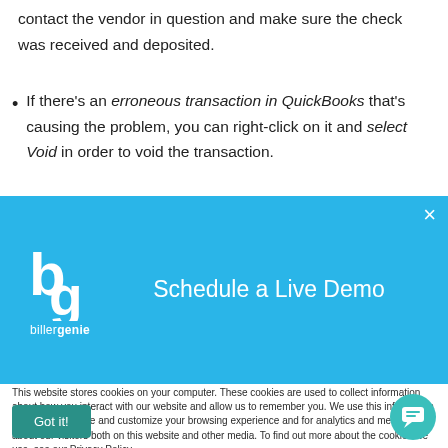contact the vendor in question and make sure the check was received and deposited.
If there's an erroneous transaction in QuickBooks that's causing the problem, you can right-click on it and select Void in order to void the transaction.
[Figure (screenshot): BillerGenie 'Schedule a Live Demo' popup banner with blue background, logo on left, title text on right, and close X button in top right corner.]
This website stores cookies on your computer. These cookies are used to collect information about how you interact with our website and allow us to remember you. We use this information in order to improve and customize your browsing experience and for analytics and metrics about our visitors both on this website and other media. To find out more about the cookies we use, see our Privacy Policy.
Got it!